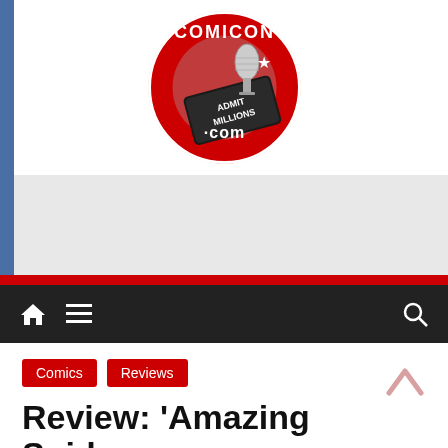[Figure (logo): Comicon.com circular logo with red background, ticket graphic, and text 'ADMIT MILLIONS']
[Figure (other): Gray advertisement placeholder area]
Comics  Reviews
Review: 'Amazing Spider-